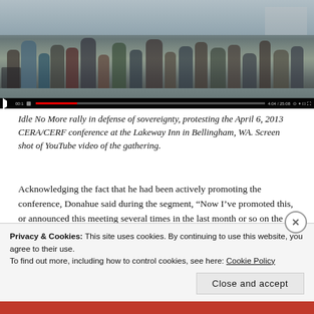[Figure (screenshot): Screenshot of a YouTube video showing a crowd of people at the Idle No More rally, with video player controls visible at the bottom including a red progress bar.]
Idle No More rally in defense of sovereignty, protesting the April 6, 2013 CERA/CERF conference at the Lakeway Inn in Bellingham, WA. Screen shot of YouTube video of the gathering.
Acknowledging the fact that he had been actively promoting the conference, Donahue said during the segment, “Now I’ve promoted this, or announced this meeting several times in the last month or so on the air. . .”  Encouraging listeners to register for the conference, both Donahue and Williams announced various ways to do that. They also said that Halterman’s Saturday Morning Live website had a flyer
Privacy & Cookies: This site uses cookies. By continuing to use this website, you agree to their use.
To find out more, including how to control cookies, see here: Cookie Policy